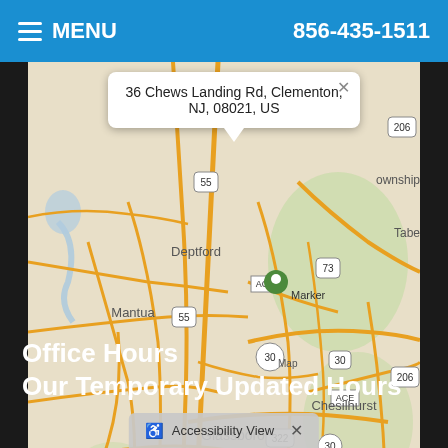MENU  856-435-1511
[Figure (map): Street map centered on 36 Chews Landing Rd, Clementon, NJ, 08021, US. Shows towns of Deptford, Mantua, Glassboro, Elmer, Chesilhurst, Winslow, and roads including Route 55, 30, 73, 206, 322, ACE. Map data provided by Leaflet and Internet Brands.]
Office Hours
Our Temporary Updated Hours